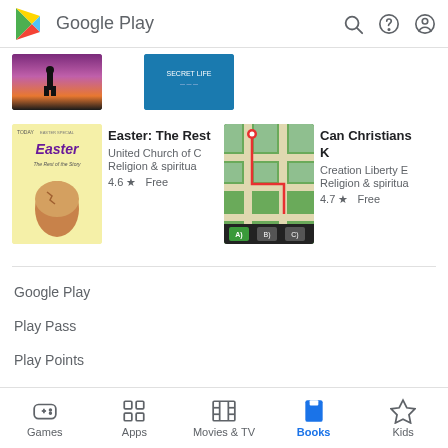Google Play
[Figure (screenshot): Partial book cover thumbnails from previous scroll position]
[Figure (screenshot): Easter book cover - yellow background with purple Easter title and egg]
Easter: The Rest
United Church of C
Religion & spiritua
4.6 ★ Free
[Figure (screenshot): Map-style book cover for Can Christians K]
Can Christians K
Creation Liberty E
Religion & spiritua
4.7 ★ Free
Google Play
Play Pass
Play Points
Gift cards
Games  Apps  Movies & TV  Books  Kids